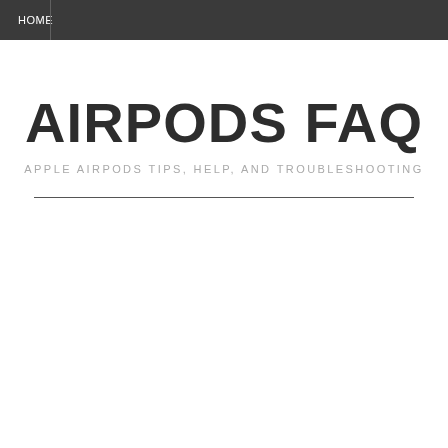HOME
AIRPODS FAQ
APPLE AIRPODS TIPS, HELP, AND TROUBLESHOOTING